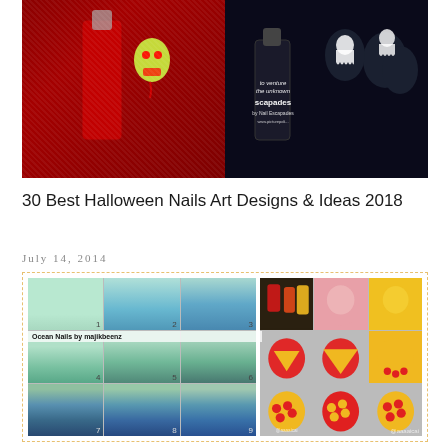[Figure (photo): Two Halloween nail art photos side by side: left shows red glitter nail polish bottle with skull nail art design, right shows dark nails with ghost designs and Nail Escapades polish bottle]
30 Best Halloween Nails Art Designs & Ideas 2018
July 14, 2014
[Figure (photo): Two nail art tutorial collages inside a dashed border: left shows Ocean Nails by majikbeenz step-by-step tutorial in 9 steps with mint/teal ocean gradient nails numbered 1-9; right shows a 9-step yellow and red polka dot nail art tutorial with @aaaaicai handle]